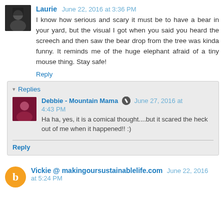Laurie  June 22, 2016 at 3:36 PM
I know how serious and scary it must be to have a bear in your yard, but the visual I got when you said you heard the screech and then saw the bear drop from the tree was kinda funny. It reminds me of the huge elephant afraid of a tiny mouse thing. Stay safe!
Reply
Replies
Debbie - Mountain Mama  June 27, 2016 at 4:43 PM
Ha ha, yes, it is a comical thought....but it scared the heck out of me when it happened!! :)
Reply
Vickie @ makingoursustainablelife.com  June 22, 2016 at 5:24 PM